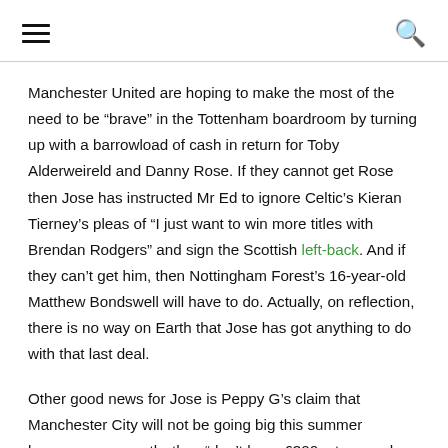[hamburger menu] [search icon]
Manchester United are hoping to make the most of the need to be “brave” in the Tottenham boardroom by turning up with a barrowload of cash in return for Toby Alderweireld and Danny Rose. If they cannot get Rose then Jose has instructed Mr Ed to ignore Celtic’s Kieran Tierney’s pleas of “I just want to win more titles with Brendan Rodgers” and sign the Scottish left-back. And if they can’t get him, then Nottingham Forest’s 16-year-old Matthew Bondswell will have to do. Actually, on reflection, there is no way on Earth that Jose has got anything to do with that last deal.
Other good news for Jose is Peppy G’s claim that Manchester City will not be going big this summer because, apparently, they “don’t have £300m to spend every year” which, as we all know, is a big fat lie. In what would be a